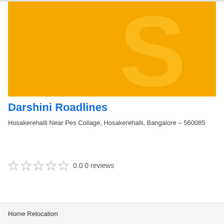[Figure (logo): Yellow/amber background with a large light letter S watermark — placeholder image for Darshini Roadlines]
Darshini Roadlines
Hosakerehalli Near Pes Collage, Hosakerehalli, Bangalore – 560085
0.0 0 reviews
Home Relocation